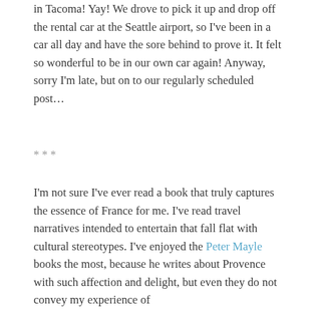in Tacoma! Yay! We drove to pick it up and drop off the rental car at the Seattle airport, so I've been in a car all day and have the sore behind to prove it. It felt so wonderful to be in our own car again! Anyway, sorry I'm late, but on to our regularly scheduled post...
***
I'm not sure I've ever read a book that truly captures the essence of France for me. I've read travel narratives intended to entertain that fall flat with cultural stereotypes. I've enjoyed the Peter Mayle books the most, because he writes about Provence with such affection and delight, but even they do not convey my experience of